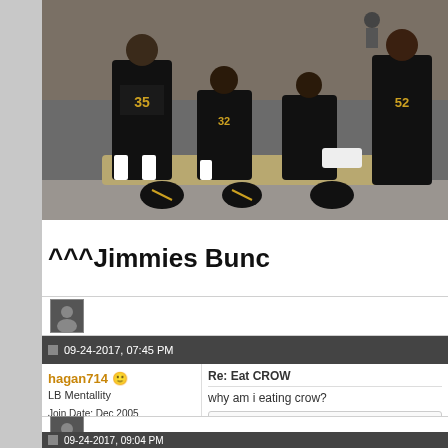[Figure (photo): NFL players in black uniforms (New Orleans Saints) kneeling on the sideline bench during the national anthem, helmets on the ground]
^^^Jimmies Bunc
[Figure (photo): User avatar thumbnail (silhouette)]
09-24-2017, 07:45 PM
hagan714 LB Mentality Join Date: Dec 2005 Posts: 15,870 Blog Entries: 68
Re: Eat CROW
why am i eating crow?
RockyMountainSaint and jeanpierre like th
[Figure (photo): User avatar thumbnail (silhouette)]
09-24-2017, 09:04 PM